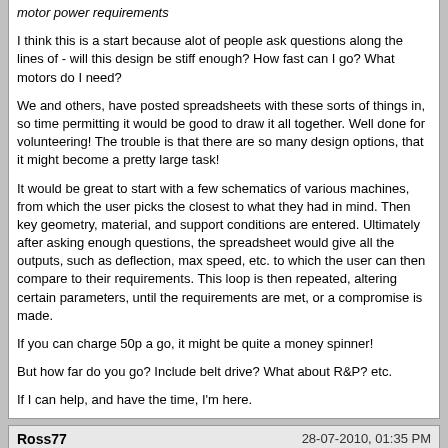motor power requirements
I think this is a start because alot of people ask questions along the lines of - will this design be stiff enough? How fast can I go? What motors do I need?
We and others, have posted spreadsheets with these sorts of things in, so time permitting it would be good to draw it all together. Well done for volunteering! The trouble is that there are so many design options, that it might become a pretty large task!
It would be great to start with a few schematics of various machines, from which the user picks the closest to what they had in mind. Then key geometry, material, and support conditions are entered. Ultimately after asking enough questions, the spreadsheet would give all the outputs, such as deflection, max speed, etc. to which the user can then compare to their requirements. This loop is then repeated, altering certain parameters, until the requirements are met, or a compromise is made.
If you can charge 50p a go, it might be quite a money spinner!
But how far do you go? Include belt drive? What about R&P? etc.
If I can help, and have the time, I'm here.
Ross77
28-07-2010, 01:35 PM
Thanks Barry,
A short list might include:
The tool deflection in Z due to gantry / gantry rails flex
Tool deflection in the other axis when cutting
Maximum jog speed due to ballscrew whip
Motor power requirements
You are thinking along the exact same line as I am, A few Machine specs on one or two pages that then automatically enter on to the subsiquent calc sheets